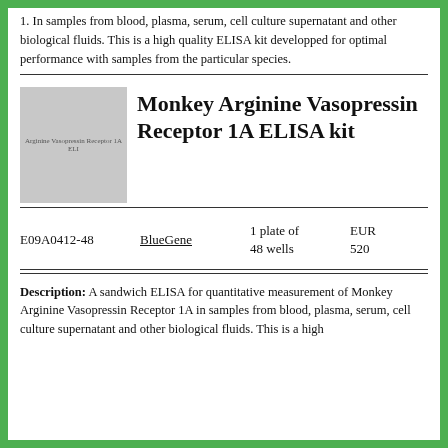1. In samples from blood, plasma, serum, cell culture supernatant and other biological fluids. This is a high quality ELISA kit developped for optimal performance with samples from the particular species.
[Figure (photo): Product image placeholder for Monkey Arginine Vasopressin Receptor 1A ELISA kit, gray rectangle with label text]
Monkey Arginine Vasopressin Receptor 1A ELISA kit
| ID | Brand | Quantity | Price |
| --- | --- | --- | --- |
| E09A0412-48 | BlueGene | 1 plate of 48 wells | EUR 520 |
Description: A sandwich ELISA for quantitative measurement of Monkey Arginine Vasopressin Receptor 1A in samples from blood, plasma, serum, cell culture supernatant and other biological fluids. This is a high